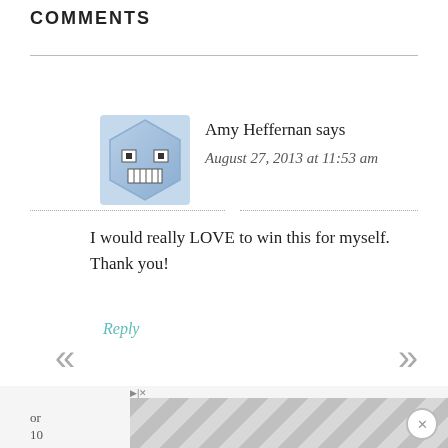COMMENTS
[Figure (illustration): Avatar icon for Amy Heffernan: cartoon face with grey/blue geometric shape]
Amy Heffernan says
August 27, 2013 at 11:53 am
I would really LOVE to win this for myself. Thank you!
Reply
[Figure (illustration): Avatar icon for Cindy Procter: cartoon face with green geometric shape]
Cindy (@cindylee137) Procter says
August 27, 2013 at 11:54 am
[Figure (illustration): Advertisement banner with geometric grey pattern at bottom of page]